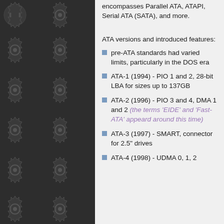encompasses Parallel ATA, ATAPI, Serial ATA (SATA), and more.
ATA versions and introduced features:
pre-ATA standards had varied limits, particularly in the DOS era
ATA-1 (1994) - PIO 1 and 2, 28-bit LBA for sizes up to 137GB
ATA-2 (1996) - PIO 3 and 4, DMA 1 and 2 (the terms 'EIDE' and 'Fast-ATA' appeard around this time)
ATA-3 (1997) - SMART, connector for 2.5" drives
ATA-4 (1998) - UDMA 0, 1, 2